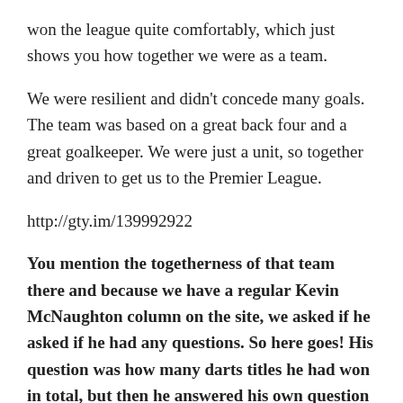won the league quite comfortably, which just shows you how together we were as a team.
We were resilient and didn't concede many goals. The team was based on a great back four and a great goalkeeper. We were just a unit, so together and driven to get us to the Premier League.
http://gty.im/139992922
You mention the togetherness of that team there and because we have a regular Kevin McNaughton column on the site, we asked if he asked if he had any questions. So here goes! His question was how many darts titles he had won in total, but then he answered his own question and said he won all of them.